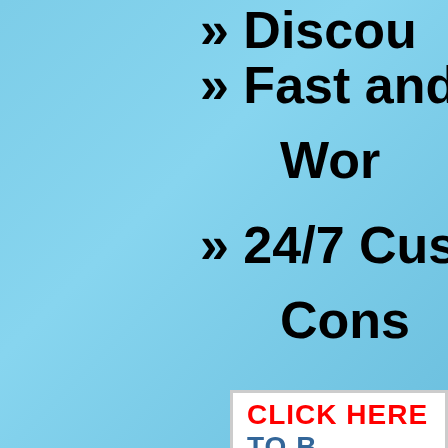» Discou...
» Fast and D... Wor...
» 24/7 Custom... Cons...
CLICK HERE TO B...